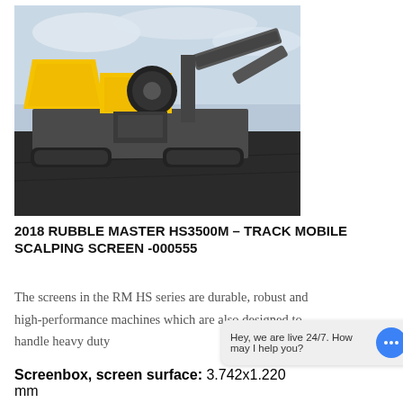[Figure (photo): 2018 Rubble Master HS3500M track mobile scalping screen machine photographed outdoors on a dark gravel surface. The machine is large, yellow and grey, on tracks, with conveyor belts visible. Cloudy sky in background.]
2018 RUBBLE MASTER HS3500M – TRACK MOBILE SCALPING SCREEN -000555
The screens in the RM HS series are durable, robust and high-performance machines which are also designed to handle heavy duty
Hey, we are live 24/7. How may I help you?
Screenbox, screen surface: 3.742x1.220 mm